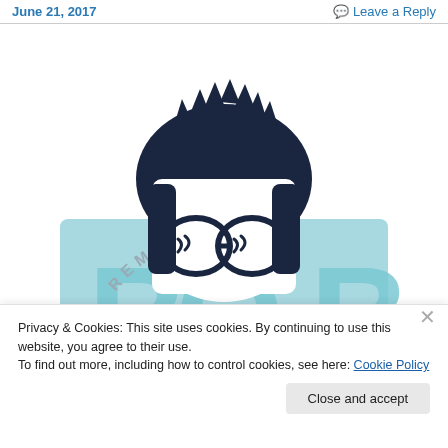June 21, 2017    Leave a Reply
[Figure (illustration): Illustrated logo reading 'REMEMBERING BOB' with a stylized cartoon face of a person with curly dark hair and glasses on a light blue background]
Privacy & Cookies: This site uses cookies. By continuing to use this website, you agree to their use.
To find out more, including how to control cookies, see here: Cookie Policy